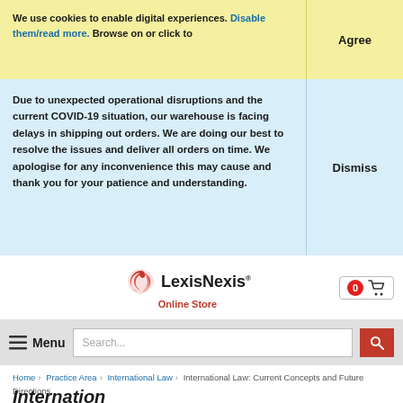We use cookies to enable digital experiences. Disable them/read more. Browse on or click to Agree
Due to unexpected operational disruptions and the current COVID-19 situation, our warehouse is facing delays in shipping out orders. We are doing our best to resolve the issues and deliver all orders on time. We apologise for any inconvenience this may cause and thank you for your patience and understanding. Dismiss
[Figure (logo): LexisNexis Online Store logo with stylized red bird icon]
Menu  Search...
Home > Practice Area > International Law > International Law: Current Concepts and Future Directions